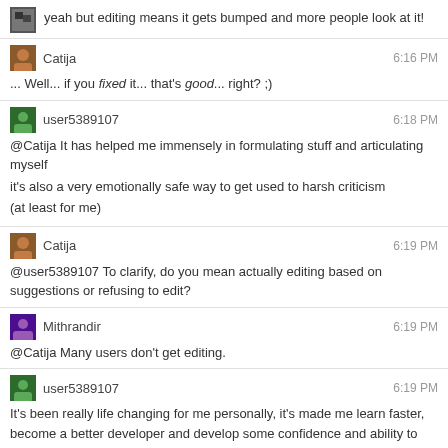yeah but editing means it gets bumped and more people look at it!
Catija 6:16 PM
... Well... if you fixed it... that's good... right? ;)
user5389107 6:18 PM
@Catija It has helped me immensely in formulating stuff and articulating myself
it's also a very emotionally safe way to get used to harsh criticism
(at least for me)
Catija 6:19 PM
@user5389107 To clarify, do you mean actually editing based on suggestions or refusing to edit?
Mithrandir 6:19 PM
@Catija Many users don't get editing.
user5389107 6:19 PM
It's been really life changing for me personally, it's made me learn faster, become a better developer and develop some confidence and ability to articulate myself. I owe a lot of the "professional" writing style people at work like about my english to SE as a whole
@Catija actually editing
Catija 6:20 PM
Cool :D I figured that's what you meant. :P
@Mithrandir Indeed. And then they complain that their question's closed. :P